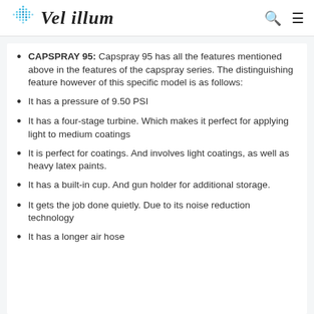Vel illum
CAPSPRAY 95: Capspray 95 has all the features mentioned above in the features of the capspray series. The distinguishing feature however of this specific model is as follows:
It has a pressure of 9.50 PSI
It has a four-stage turbine. Which makes it perfect for applying light to medium coatings
It is perfect for coatings. And involves light coatings, as well as heavy latex paints.
It has a built-in cup. And gun holder for additional storage.
It gets the job done quietly. Due to its noise reduction technology
It has a longer air hose